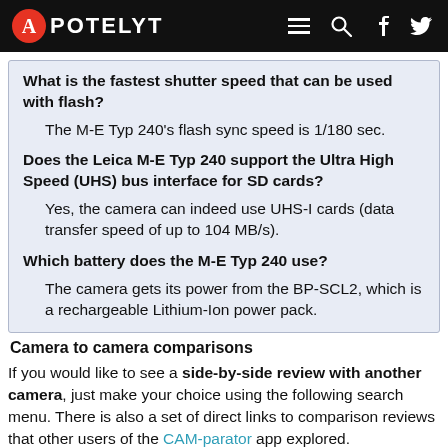APOTELYT
What is the fastest shutter speed that can be used with flash?
The M-E Typ 240's flash sync speed is 1/180 sec.
Does the Leica M-E Typ 240 support the Ultra High Speed (UHS) bus interface for SD cards?
Yes, the camera can indeed use UHS-I cards (data transfer speed of up to 104 MB/s).
Which battery does the M-E Typ 240 use?
The camera gets its power from the BP-SCL2, which is a rechargeable Lithium-Ion power pack.
Camera to camera comparisons
If you would like to see a side-by-side review with another camera, just make your choice using the following search menu. There is also a set of direct links to comparison reviews that other users of the CAM-parator app explored.